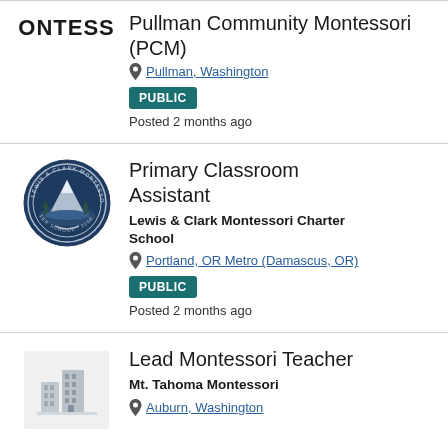[Figure (logo): Partial Montessori logo showing text 'ONTESS' in bold dark letters]
Pullman Community Montessori (PCM)
Pullman, Washington
PUBLIC
Posted 2 months ago
[Figure (logo): Lewis & Clark Montessori Charter School circular seal logo with mountain imagery]
Primary Classroom Assistant
Lewis & Clark Montessori Charter School
Portland, OR Metro (Damascus, OR)
PUBLIC
Posted 2 months ago
[Figure (logo): Generic building/office placeholder icon on light gray background]
Lead Montessori Teacher
Mt. Tahoma Montessori
Auburn, Washington